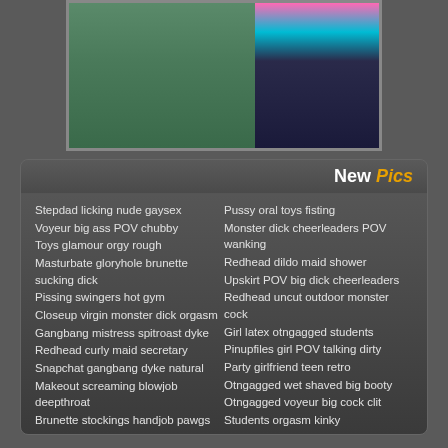[Figure (photo): Partial photo of a person outdoors wearing colorful clothing (pink and teal/cyan top, dark pants), with greenery in background]
Stepdad licking nude gaysex
Voyeur big ass POV chubby
Toys glamour orgy rough
Masturbate gloryhole brunette sucking dick
Pissing swingers hot gym
Closeup virgin monster dick orgasm
Gangbang mistress spitroast dyke
Redhead curly maid secretary
Snapchat gangbang dyke natural
Makeout screaming blowjob deepthroat
Brunette stockings handjob pawgs
Pussy oral toys fisting
Monster dick cheerleaders POV wanking
Redhead dildo maid shower
Upskirt POV big dick cheerleaders
Redhead uncut outdoor monster cock
Girl latex otngagged students
Pinupfiles girl POV talking dirty
Party girlfriend teen retro
Otngagged wet shaved big booty
Otngagged voyeur big cock clit
Students orgasm kinky